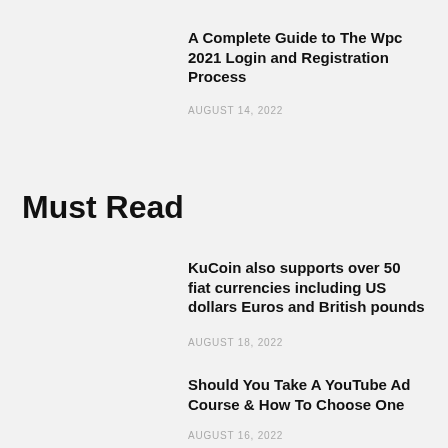A Complete Guide to The Wpc 2021 Login and Registration Process
AUGUST 14, 2022
Must Read
KuCoin also supports over 50 fiat currencies including US dollars Euros and British pounds
AUGUST 18, 2022
Should You Take A YouTube Ad Course & How To Choose One
AUGUST 16, 2022